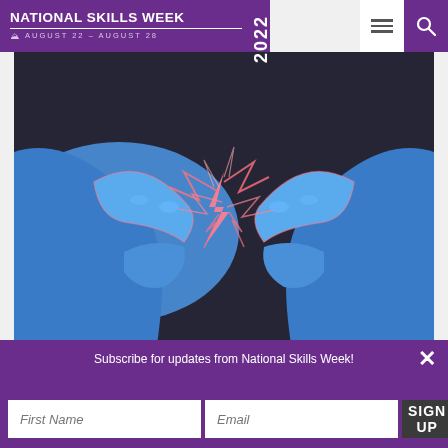NATIONAL SKILLS WEEK 2022 | AUGUST 22 – AUGUST 28
[Figure (illustration): Illustration of two blue hands touching fingertips with pink/red lightning bolt energy between them, on a dark background]
National Skills Week 2022: Victorian Launch
Subscribe for updates from National Skills Week!